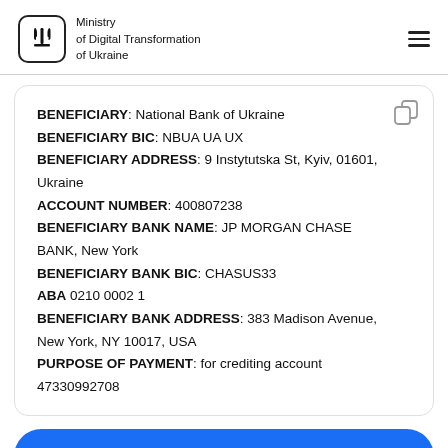Ministry of Digital Transformation of Ukraine
BENEFICIARY: National Bank of Ukraine
BENEFICIARY BIC: NBUA UA UX
BENEFICIARY ADDRESS: 9 Instytutska St, Kyiv, 01601, Ukraine
ACCOUNT NUMBER: 400807238
BENEFICIARY BANK NAME: JP MORGAN CHASE BANK, New York
BENEFICIARY BANK BIC: CHASUS33
ABA 0210 0002 1
BENEFICIARY BANK ADDRESS: 383 Madison Avenue, New York, NY 10017, USA
PURPOSE OF PAYMENT: for crediting account 47330992708
Help Ukraine